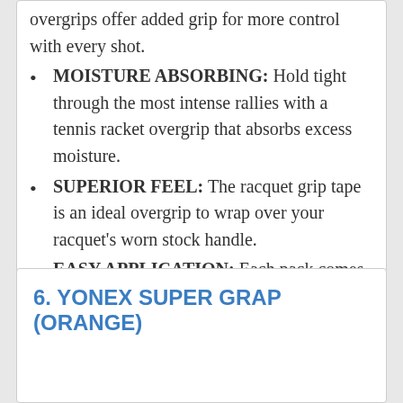overgrips offer added grip for more control with every shot.
MOISTURE ABSORBING: Hold tight through the most intense rallies with a tennis racket overgrip that absorbs excess moisture.
SUPERIOR FEEL: The racquet grip tape is an ideal overgrip to wrap over your racquet's worn stock handle.
EASY APPLICATION: Each pack comes with 3 easy-apply overgrips.
6. YONEX SUPER GRAP (ORANGE)